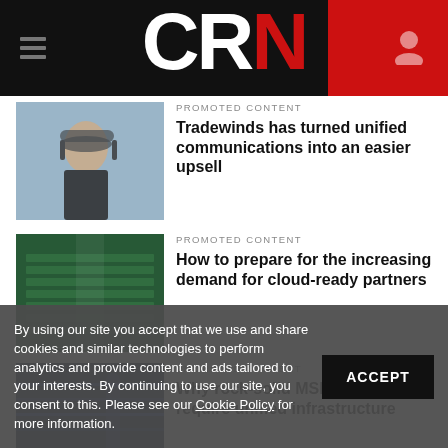CRN
PROMOTED CONTENT
Tradewinds has turned unified communications into an easier upsell
PROMOTED CONTENT
How to prepare for the increasing demand for cloud-ready partners
PROMOTED CONTENT
Why rock-solid MSPs services require unified infrastructure monitoring
By using our site you accept that we use and share cookies and similar technologies to perform analytics and provide content and ads tailored to your interests. By continuing to use our site, you consent to this. Please see our Cookie Policy for more information.